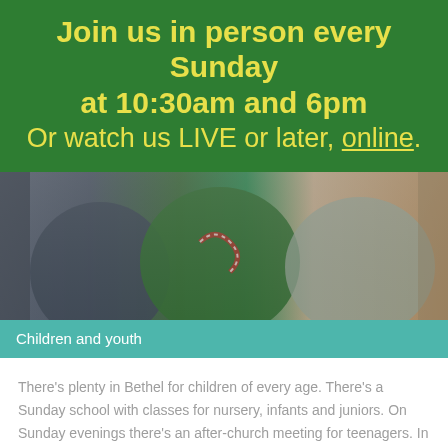Join us in person every Sunday at 10:30am and 6pm Or watch us LIVE or later, online.
[Figure (photo): Photograph of children at a church event, showing colorful clothing including a green top with decorative candy cane design and a grey shirt]
Children and youth
There's plenty in Bethel for children of every age. There's a Sunday school with classes for nursery, infants and juniors. On Sunday evenings there's an after-church meeting for teenagers. In the week there are children's clubs after school: Adventurers for children in nursery and infants, Discoverers for juniors, and Impact for those in High School.